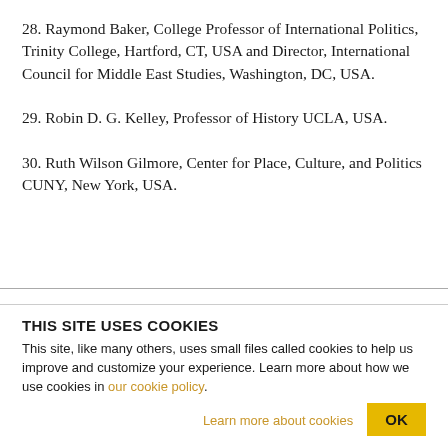28. Raymond Baker, College Professor of International Politics, Trinity College, Hartford, CT, USA and Director, International Council for Middle East Studies, Washington, DC, USA.
29. Robin D. G. Kelley, Professor of History UCLA, USA.
30. Ruth Wilson Gilmore, Center for Place, Culture, and Politics CUNY, New York, USA.
THIS SITE USES COOKIES
This site, like many others, uses small files called cookies to help us improve and customize your experience. Learn more about how we use cookies in our cookie policy.
Learn more about cookies
OK